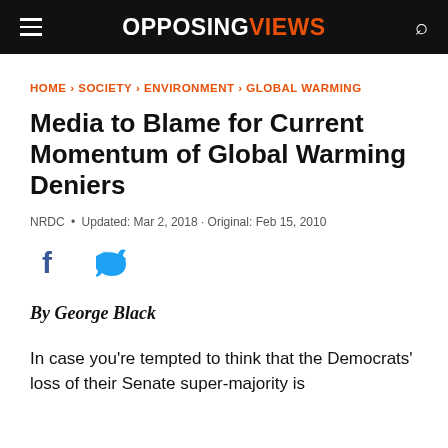OPPOSINGVIEWS
HOME > SOCIETY > ENVIRONMENT > GLOBAL WARMING
Media to Blame for Current Momentum of Global Warming Deniers
NRDC • Updated: Mar 2, 2018 · Original: Feb 15, 2010
[Figure (other): Facebook and Twitter social share icons]
By George Black
In case you're tempted to think that the Democrats' loss of their Senate super-majority is